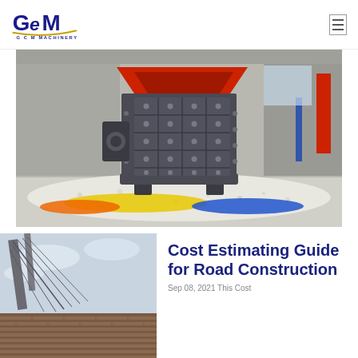GCM MACHINERY logo and navigation
[Figure (photo): Large industrial impact crusher machine with dark grey body and bolted panels, sitting on white gravel/aggregate inside a large industrial facility with colorful barriers]
[Figure (photo): Partial view of a bridge or overhead structure with cables/wires against a cloudy sky, showing weathered brick]
Cost Estimating Guide for Road Construction
Sep 08, 2021 This Cost